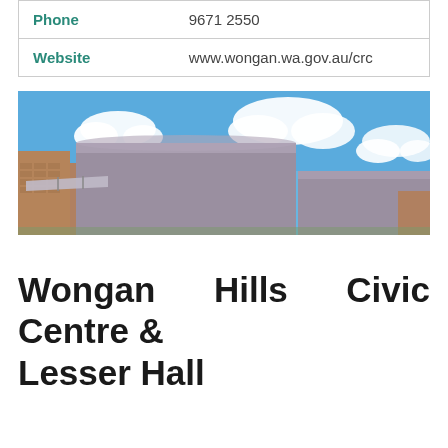| Phone | 9671 2550 |
| Website | www.wongan.wa.gov.au/crc |
[Figure (photo): Exterior photo of a building with a purple/grey metal roof under a bright blue sky with white clouds. Brick walls visible on left side.]
Wongan Hills Civic Centre & Lesser Hall